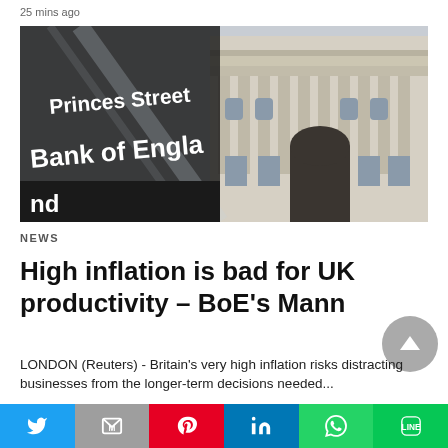25 mins ago
[Figure (photo): Bank of England building facade with street sign reading 'Princes Street / Bank of England']
NEWS
High inflation is bad for UK productivity – BoE's Mann
LONDON (Reuters) - Britain's very high inflation risks distracting businesses from the longer-term decisions needed...